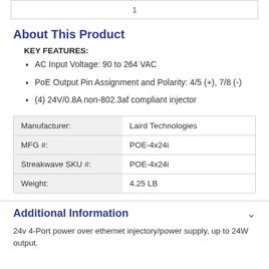About This Product
KEY FEATURES:
AC Input Voltage: 90 to 264 VAC
PoE Output Pin Assignment and Polarity: 4/5 (+), 7/8 (-)
(4) 24V/0.8A non-802.3af compliant injector
|  |  |
| --- | --- |
| Manufacturer: | Laird Technologies |
| MFG #: | POE-4x24i |
| Streakwave SKU #: | POE-4x24i |
| Weight: | 4.25 LB |
Additional Information
24v 4-Port power over ethernet injectory/power supply, up to 24W output.